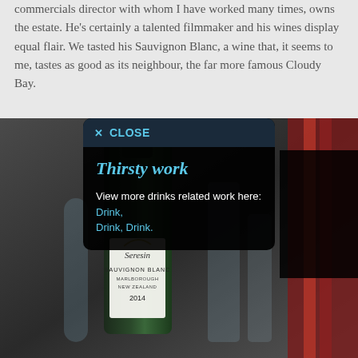commercials director with whom I have worked many times, owns the estate. He's certainly a talented filmmaker and his wines display equal flair. We tasted his Sauvignon Blanc, a wine that, it seems to me, tastes as good as its neighbour, the far more famous Cloudy Bay.
[Figure (photo): Photo of a Seresin Sauvignon Blanc Marlborough New Zealand 2014 wine bottle, with a dark popup overlay showing 'Thirsty work' title and 'View more drinks related work here: Drink, Drink, Drink.' text with links.]